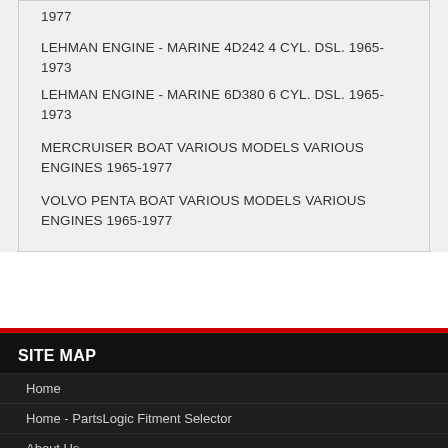1977
LEHMAN ENGINE - MARINE 4D242 4 CYL. DSL. 1965-1973
LEHMAN ENGINE - MARINE 6D380 6 CYL. DSL. 1965-1973
MERCRUISER BOAT VARIOUS MODELS VARIOUS ENGINES 1965-1977
VOLVO PENTA BOAT VARIOUS MODELS VARIOUS ENGINES 1965-1977
SITE MAP
Home
Home - PartsLogic Fitment Selector
About Us
Newsletter